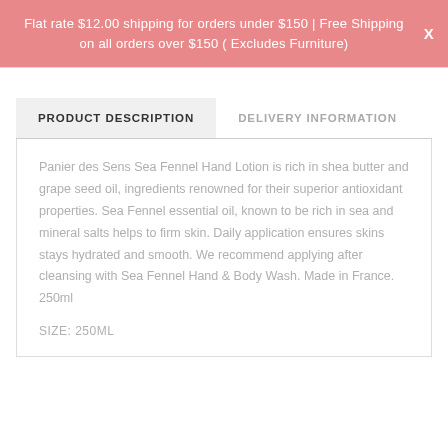Flat rate $12.00 shipping for orders under $150 | Free Shipping on all orders over $150 ( Excludes Furniture)
PRODUCT DESCRIPTION
DELIVERY INFORMATION
Panier des Sens Sea Fennel Hand Lotion is rich in shea butter and grape seed oil, ingredients renowned for their superior antioxidant properties. Sea Fennel essential oil, known to be rich in sea and mineral salts helps to firm skin. Daily application ensures skins stays hydrated and smooth. We recommend applying after cleansing with Sea Fennel Hand & Body Wash. Made in France. 250ml
SIZE: 250ML